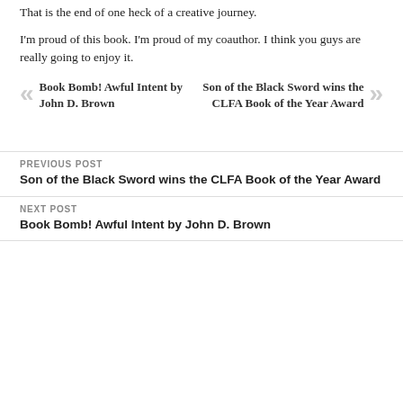That is the end of one heck of a creative journey.
I'm proud of this book. I'm proud of my coauthor. I think you guys are really going to enjoy it.
« Book Bomb! Awful Intent by John D. Brown
Son of the Black Sword wins the CLFA Book of the Year Award »
PREVIOUS POST
Son of the Black Sword wins the CLFA Book of the Year Award
NEXT POST
Book Bomb! Awful Intent by John D. Brown